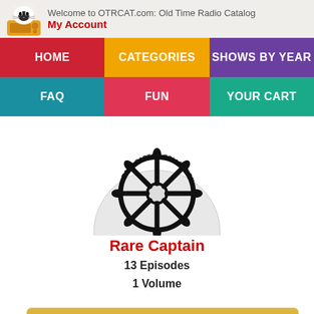Welcome to OTRCAT.com: Old Time Radio Catalog
My Account
[Figure (screenshot): Navigation menu with HOME (red), CATEGORIES (orange), SHOWS BY YEAR (purple), FAQ (teal), FUN (red-pink), YOUR CART (green)]
[Figure (photo): CD disc with ship wheel logo and text RARE CAPTAIN COLLECTION]
Rare Captain
13 Episodes
1 Volume
Add To Cart: $5.00